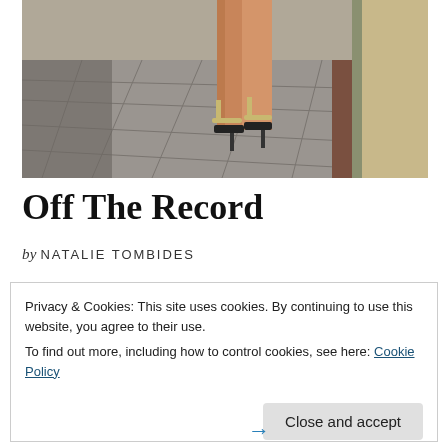[Figure (photo): Photo of a person's legs in high-heeled sandals walking on a stone-paved street, with a stone wall on the right side.]
Off The Record
by NATALIE TOMBIDES
Privacy & Cookies: This site uses cookies. By continuing to use this website, you agree to their use.
To find out more, including how to control cookies, see here: Cookie Policy

Close and accept